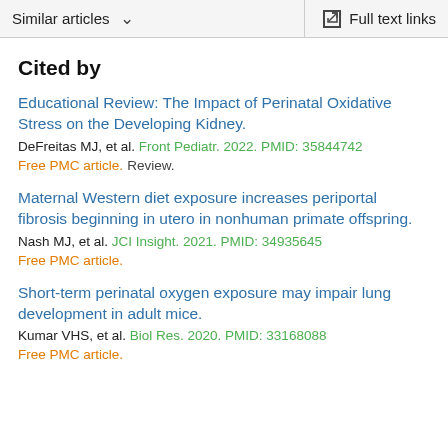Similar articles   ∨   Full text links
Cited by
Educational Review: The Impact of Perinatal Oxidative Stress on the Developing Kidney.
DeFreitas MJ, et al. Front Pediatr. 2022. PMID: 35844742
Free PMC article. Review.
Maternal Western diet exposure increases periportal fibrosis beginning in utero in nonhuman primate offspring.
Nash MJ, et al. JCI Insight. 2021. PMID: 34935645
Free PMC article.
Short-term perinatal oxygen exposure may impair lung development in adult mice.
Kumar VHS, et al. Biol Res. 2020. PMID: 33168088
Free PMC article.